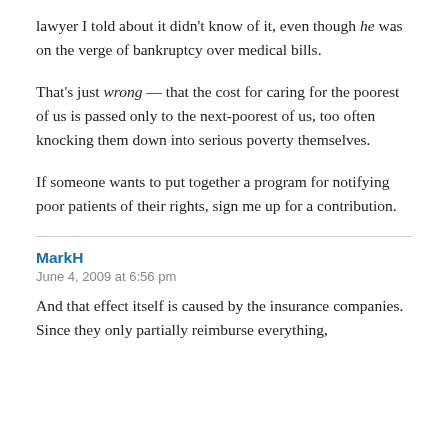lawyer I told about it didn't know of it, even though he was on the verge of bankruptcy over medical bills.
That's just wrong — that the cost for caring for the poorest of us is passed only to the next-poorest of us, too often knocking them down into serious poverty themselves.
If someone wants to put together a program for notifying poor patients of their rights, sign me up for a contribution.
MarkH
June 4, 2009 at 6:56 pm
And that effect itself is caused by the insurance companies. Since they only partially reimburse everything,